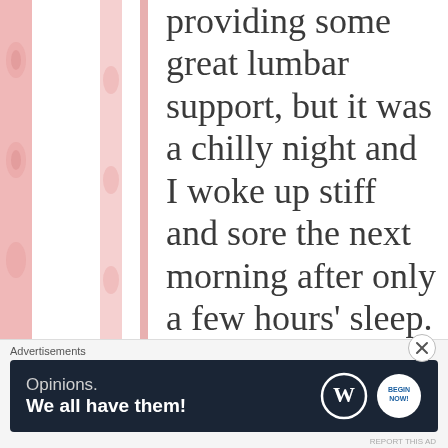providing some great lumbar support, but it was a chilly night and I woke up stiff and sore the next morning after only a few hours' sleep. We had to leave early to make it back for another family get-together on my side, and we were all pretty tired.
Advertisements
[Figure (screenshot): Advertisement banner with dark navy background reading 'Opinions. We all have them!' with WordPress logo and another circular logo on the right.]